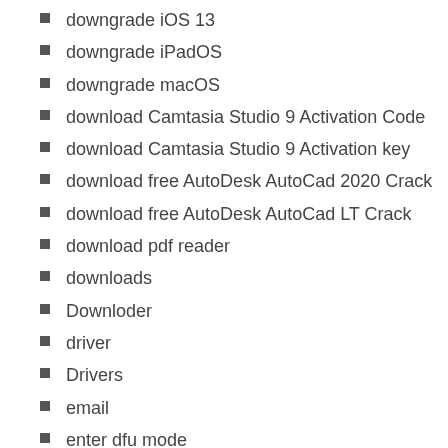downgrade iOS 13
downgrade iPadOS
downgrade macOS
download Camtasia Studio 9 Activation Code
download Camtasia Studio 9 Activation key
download free AutoDesk AutoCad 2020 Crack
download free AutoDesk AutoCad LT Crack
download pdf reader
downloads
Downloder
driver
Drivers
email
enter dfu mode
Face ID
Fighting Games
File Management